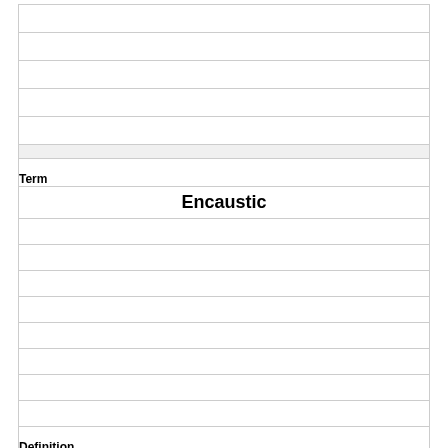|  |
|  |
|  |
|  |
|  |
|  |
| Term |
| Encaustic |
|  |
|  |
|  |
|  |
|  |
|  |
|  |
|  |
|  |
| Definition |
| A painting technique in which pigment is mixed with melted wax and applied to the surface while the mixture is hot. |
|  |